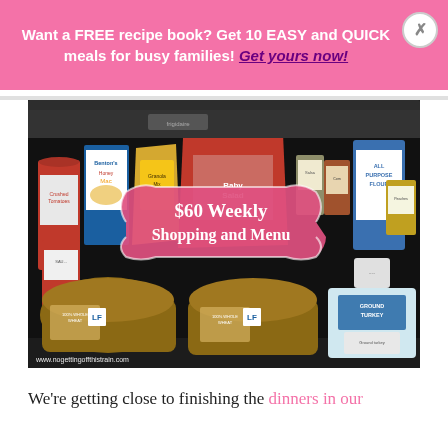Want a FREE recipe book? Get 10 EASY and QUICK meals for busy families! Get yours now!
[Figure (photo): Grocery items spread on a black stove surface including canned tomatoes, cereal boxes, bags of salad, flour, ground turkey, whole wheat bread, and other pantry items. Overlaid with a pink decorative badge reading '$60 Weekly Shopping and Menu'. Watermark: www.nogettingoffthistrain.com]
We're getting close to finishing the dinners in our